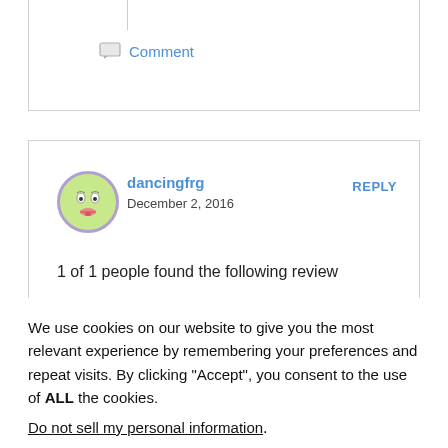Comment
dancingfrg
December 2, 2016
REPLY
1 of 1 people found the following review helpful
We use cookies on our website to give you the most relevant experience by remembering your preferences and repeat visits. By clicking “Accept”, you consent to the use of ALL the cookies.
Do not sell my personal information.
Cookie Settings   Accept